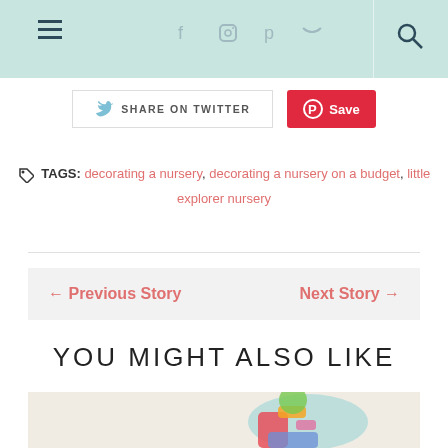Navigation header with hamburger menu, social icons (Facebook, Instagram, Pinterest, Twitter), and search icon
SHARE ON TWITTER | Save (Pinterest)
TAGS: decorating a nursery, decorating a nursery on a budget, little explorer nursery
← Previous Story    Next Story →
YOU MIGHT ALSO LIKE
[Figure (photo): Partial bottom image of colorful items on light background]